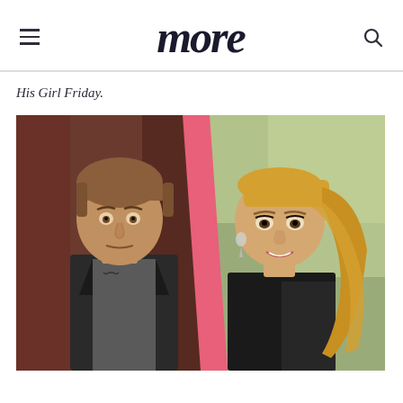more
His Girl Friday.
[Figure (photo): Split photo: man with brown hair in dark jacket on left, blonde woman in black outfit on right, separated by a diagonal pink/red stripe]